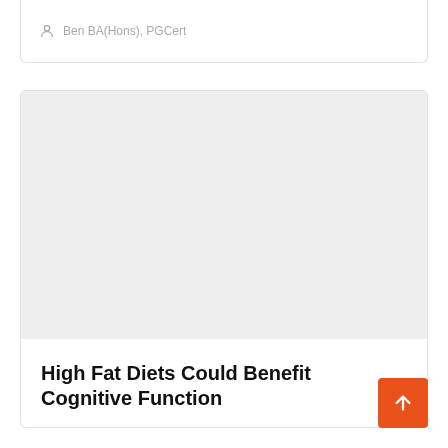Ben BA(Hons), PGCert
[Figure (photo): Light gray placeholder image for article thumbnail]
High Fat Diets Could Benefit Cognitive Function
Ben BA(Hons), PGCert